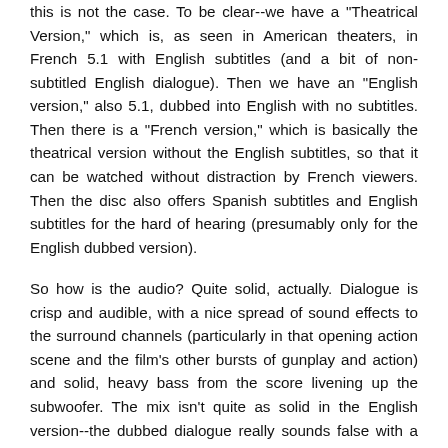this is not the case. To be clear--we have a "Theatrical Version," which is, as seen in American theaters, in French 5.1 with English subtitles (and a bit of non-subtitled English dialogue). Then we have an "English version," also 5.1, dubbed into English with no subtitles. Then there is a "French version," which is basically the theatrical version without the English subtitles, so that it can be watched without distraction by French viewers. Then the disc also offers Spanish subtitles and English subtitles for the hard of hearing (presumably only for the English dubbed version).
So how is the audio? Quite solid, actually. Dialogue is crisp and audible, with a nice spread of sound effects to the surround channels (particularly in that opening action scene and the film's other bursts of gunplay and action) and solid, heavy bass from the score livening up the subwoofer. The mix isn't quite as solid in the English version--the dubbed dialogue really sounds false with a track of this much clarity--but it's still serviceable, if the idea of reading puts you off the French version. One minor disappointment: the UK Blu-ray disc reportedly includes a French